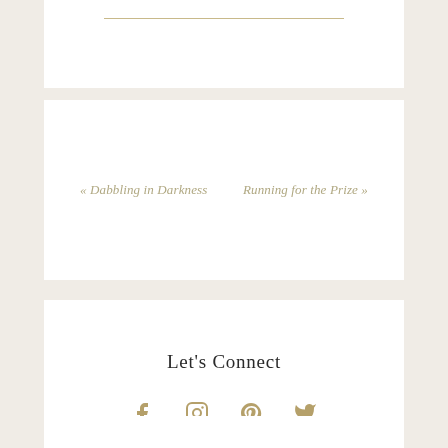« Dabbling in Darkness
Running for the Prize »
Let's Connect
[Figure (infographic): Social media icons: Facebook, Instagram, Pinterest, Twitter in golden/tan color]